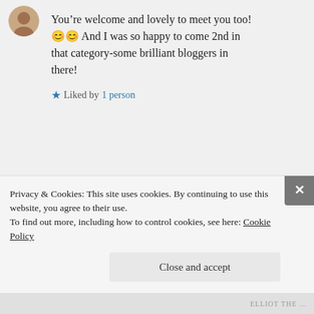[Figure (photo): Small circular avatar of a person at top left of first comment]
You’re welcome and lovely to meet you too! 😊😊 And I was so happy to come 2nd in that category-some brilliant bloggers in there!
★ Liked by 1 person
Log in to Reply
Gloria Grayson on June 28, 2017 at 20:14
[Figure (photo): Circular avatar showing person with red lips for Gloria Grayson]
Privacy & Cookies: This site uses cookies. By continuing to use this website, you agree to their use.
To find out more, including how to control cookies, see here: Cookie Policy
Close and accept